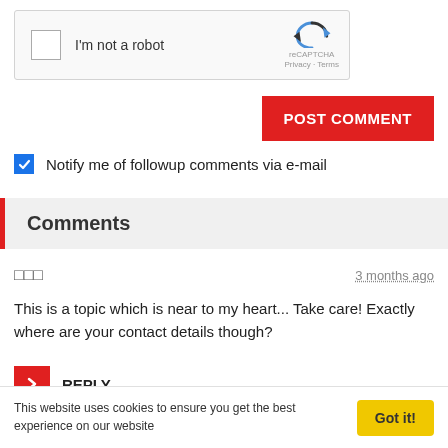[Figure (screenshot): reCAPTCHA widget with checkbox labeled 'I'm not a robot' and reCAPTCHA logo with Privacy - Terms text]
POST COMMENT
Notify me of followup comments via e-mail
Comments
□□□
3 months ago
This is a topic which is near to my heart... Take care! Exactly where are your contact details though?
REPLY
This website uses cookies to ensure you get the best experience on our website
Got it!